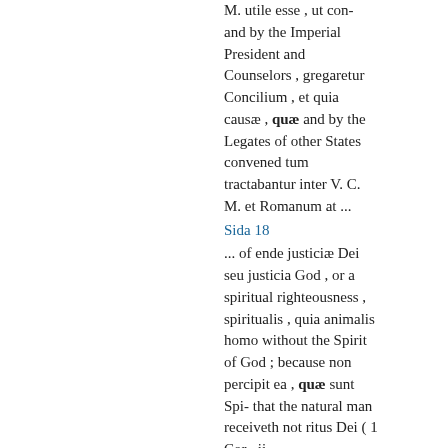M. utile esse , ut con- and by the Imperial President and Counselors , gregaretur Concilium , et quia causæ , quæ and by the Legates of other States convened tum tractabantur inter V. C. M. et Romanum at ...
Sida 18
... of ende justiciæ Dei seu justicia God , or a spiritual righteousness , spiritualis , quia animalis homo without the Spirit of God ; because non percipit ea , quæ sunt Spi- that the natural man receiveth not ritus Dei ( 1 Cor . ii .
Sida 20
--Of Good Works . Falso accusantur nostri , quod